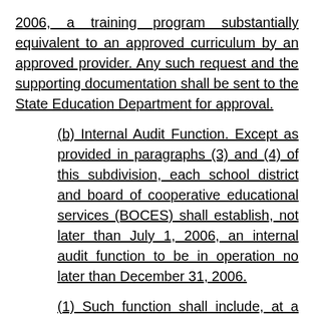2006, a training program substantially equivalent to an approved curriculum by an approved provider.  Any such request and the supporting documentation shall be sent to the State Education Department for approval.
(b)  Internal Audit Function.  Except as provided in paragraphs (3) and (4) of this subdivision, each school district and board of cooperative educational services (BOCES) shall establish, not later than July 1, 2006, an internal audit function to be in operation no later than December 31, 2006.
(1)  Such function shall include, at a minimum:
(i)    development of a risk assessment of district